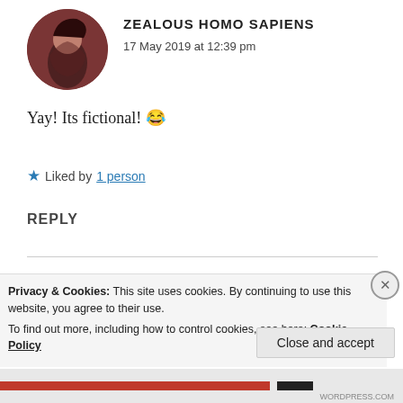[Figure (photo): Circular avatar of a person with dark hair, reddish-brown background]
ZEALOUS HOMO SAPIENS
17 May 2019 at 12:39 pm
Yay! Its fictional! 😂
★ Liked by 1 person
REPLY
[Figure (photo): Circular avatar of a small fluffy dog]
THE SCRIBBLER
17 May 2019 at 6:22 pm
Privacy & Cookies: This site uses cookies. By continuing to use this website, you agree to their use.
To find out more, including how to control cookies, see here: Cookie Policy
Close and accept